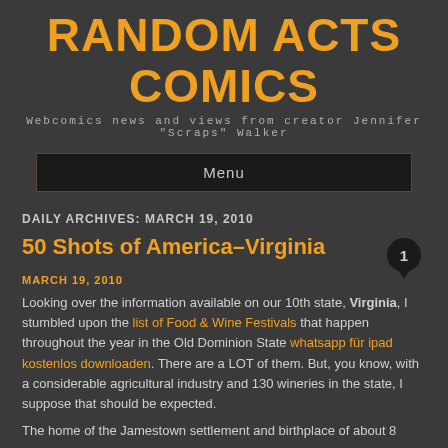RANDOM ACTS COMICS
Webcomics news and views from creator Jennifer "Scraps" Walker
Menu
DAILY ARCHIVES: MARCH 19, 2010
50 Shots of America–Virginia
MARCH 19, 2010
Looking over the information available on our 10th state, Virginia, I stumbled upon the list of Food & Wine Festivals that happen throughout the year in the Old Dominion State whatsapp für ipad kostenlos downloaden. There are a LOT of them. But, you know, with a considerable agricultural industry and 130 wineries in the state, I suppose that should be expected.
The home of the Jamestown settlement and birthplace of about 8